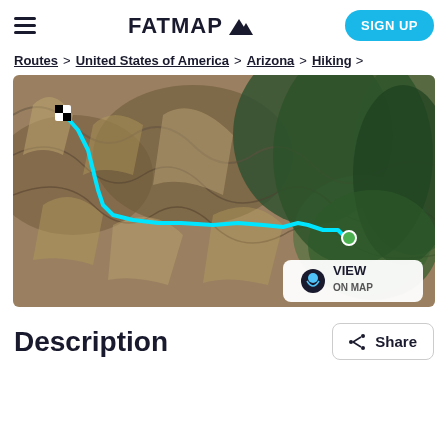FATMAP
Routes > United States of America > Arizona > Hiking >
[Figure (map): Satellite map showing a hiking route in Arizona (Grand Canyon area). A cyan/turquoise trail line starts in the upper-left with a white checkered marker, winds down through canyon terrain, and ends at a green circle marker in the lower-right area. A 'VIEW ON MAP' button is overlaid in the bottom-right corner of the map.]
Description
Share